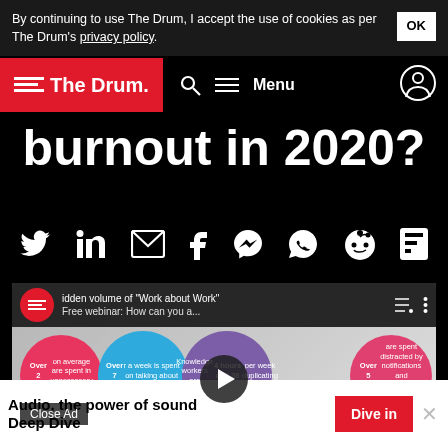By continuing to use The Drum, I accept the use of cookies as per The Drum's privacy policy.
The Drum — Menu
burnout in 2020?
[Figure (other): Social media sharing icons: Twitter, LinkedIn, Email, Facebook, Messenger, WhatsApp, Reddit, Flipboard]
[Figure (screenshot): YouTube video embed: 'idden volume of Work about Work' / 'Free webinar: How can you a...' with four coloured bubbles showing work statistics and a play button overlay]
Close Ad
Audio, the power of sound Deep Dive
Dive in